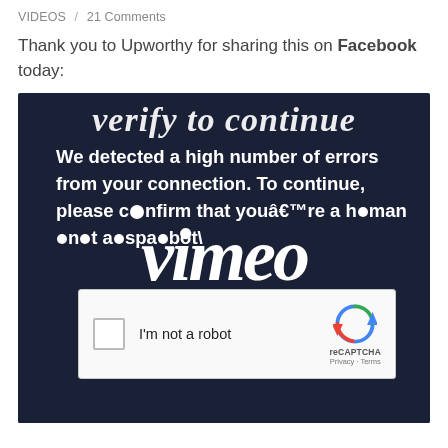VIDEOS / 21 Comments
Thank you to Upworthy for sharing this on Facebook today:
[Figure (screenshot): Screenshot of a Vimeo reCAPTCHA verification page with dark navy background showing the text 'Verify to continue', 'We detected a high number of errors from your connection. To continue, please confirm that youâ€™re a human and not a spambot', with the Vimeo logo watermark and a reCAPTCHA 'I'm not a robot' checkbox widget.]